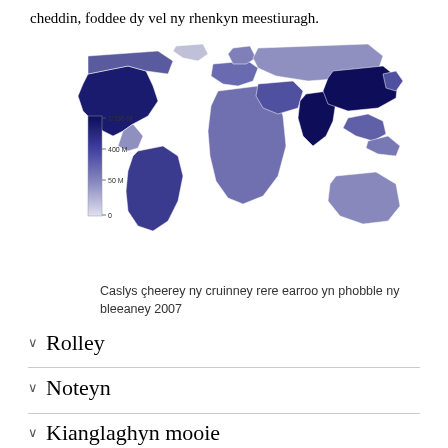cheddin, foddee dy vel ny rhenkyn meestiuragh.
[Figure (map): World map choropleth showing countries shaded by population size in 2007. Darkest navy blue for most populous countries (China, India, USA), medium blue for moderately populous, light blue/grey for least populous. Legend shows scale: 0, 50 M, 400 M, 1336 M.]
Caslys çheerey ny cruinney rere earroo yn phobble ny bleeaney 2007
Rolley
Noteyn
Kianglaghyn mooie